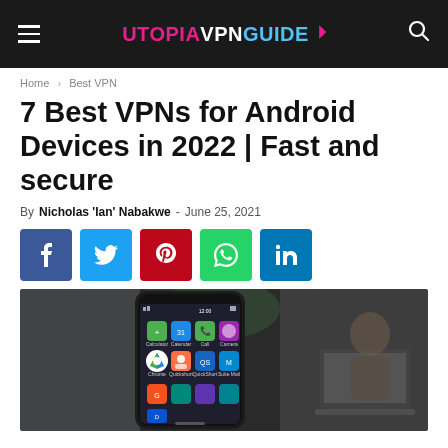UTOPIA VPN GUIDE
Home › Best VPN
7 Best VPNs for Android Devices in 2022 | Fast and secure
By Nicholas 'Ian' Nabakwe - June 25, 2021
[Figure (infographic): Social media share buttons: Facebook (blue), Twitter (light blue), Pinterest (red), WhatsApp (green), LinkedIn (dark blue)]
[Figure (photo): Photo of a smartphone showing Android app icons, held in front of a blurred background with a person using a laptop]